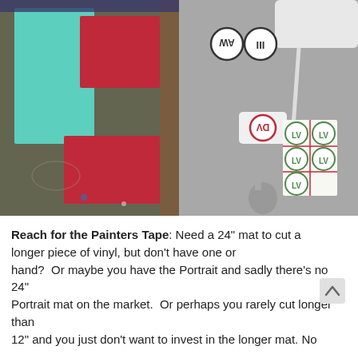[Figure (photo): Left photo: two sheets of colored paper (teal/mint and red/crimson) on a craft cutting mat on a wooden floor. Right photo: close-up of a MacBook laptop surface with a white USB power adapter and a label sheet with circular stickers showing 'DV' and 'LV' logos in red/green, plus two circular stickers at top showing 'AW' and 'III'.]
Reach for the Painters Tape: Need a 24" mat to cut a longer piece of vinyl, but don't have one or hand?  Or maybe you have the Portrait and sadly there's no 24" Portrait mat on the market.  Or perhaps you rarely cut longer than 12" and you just don't want to invest in the longer mat. No